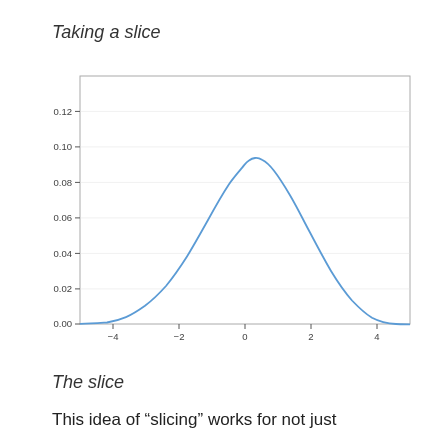Taking a slice
[Figure (continuous-plot): A bell-shaped normal distribution curve (Gaussian) plotted in blue. X-axis ranges from approximately -5 to 5, with ticks at -4, -2, 0, 2, 4. Y-axis ranges from 0.00 to above 0.12, with ticks at 0.00, 0.02, 0.04, 0.06, 0.08, 0.10, 0.12. The curve peaks at x=0, y≈0.13.]
The slice
This idea of “slicing” works for not just